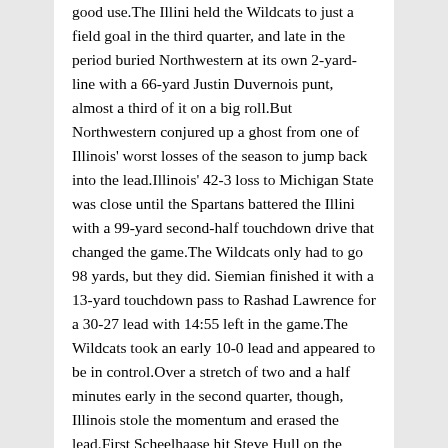good use.The Illini held the Wildcats to just a field goal in the third quarter, and late in the period buried Northwestern at its own 2-yard-line with a 66-yard Justin Duvernois punt, almost a third of it on a big roll.But Northwestern conjured up a ghost from one of Illinois' worst losses of the season to jump back into the lead.Illinois' 42-3 loss to Michigan State was close until the Spartans battered the Illini with a 99-yard second-half touchdown drive that changed the game.The Wildcats only had to go 98 yards, but they did. Siemian finished it with a 13-yard touchdown pass to Rashad Lawrence for a 30-27 lead with 14:55 left in the game.The Wildcats took an early 10-0 lead and appeared to be in control.Over a stretch of two and a half minutes early in the second quarter, though, Illinois stole the momentum and erased the lead.First Scheelhaase hit Steve Hull on the unlikeliest of 25-yard touchdown passes, jumping to launch the ball over the Wildcats' defensive pressure and finding Steve Hull flat on his back in the front of the end zone. The receiver slipped as he appeared to adjust to the ball and fell, but the ball found him, landing right on top of him with